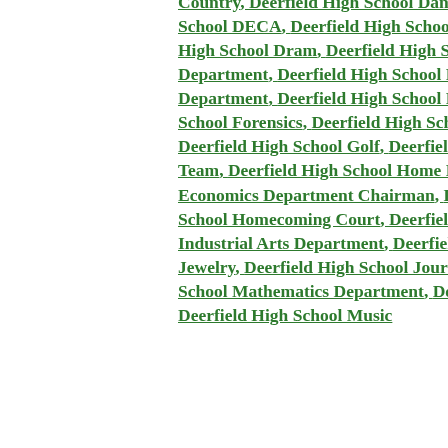Country, Deerfield High School Dance Club, Deerfield High School Debate, Deerfield High School DECA, Deerfield High School Deerprints, Deerfield High School Diving, Deerfield High School Dram, Deerfield High School Drama Department, Deerfield High School English Department, Deerfield High School Football, Deerfield High School Foreign Language Department, Deerfield High School Foreign Language Department Chairman, Deerfield High School Forensics, Deerfield High School German Club, Deerfield High School Girls' Club, Deerfield High School Golf, Deerfield High School Guard, Deerfield High School Gymnastics Team, Deerfield High School Home Economics Department, Deerfield High School Home Economics Department Chairman, Deerfield High School Homecoming, Deerfield High School Homecoming Court, Deerfield High School Humanities, Deerfield High School Industrial Arts Department, Deerfield High School Intramurals, Deerfield High School Jewelry, Deerfield High School Journalism, Deerfield High School Math Club, Deerfield High School Mathematics Department, Deerfield High School Mathematics Department Chairman, Deerfield High School Music